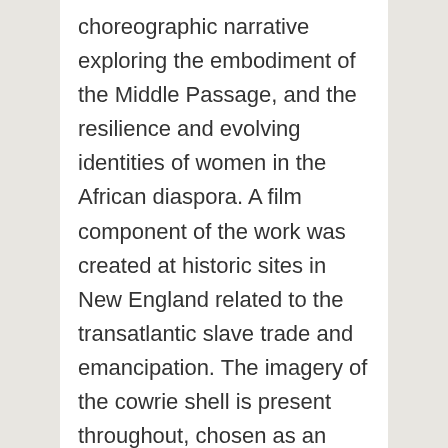choreographic narrative exploring the embodiment of the Middle Passage, and the resilience and evolving identities of women in the African diaspora. A film component of the work was created at historic sites in New England related to the transatlantic slave trade and emancipation. The imagery of the cowrie shell is present throughout, chosen as an emblem of the transformative identity of the Black female body.
Saturday, November 13, 4pm &